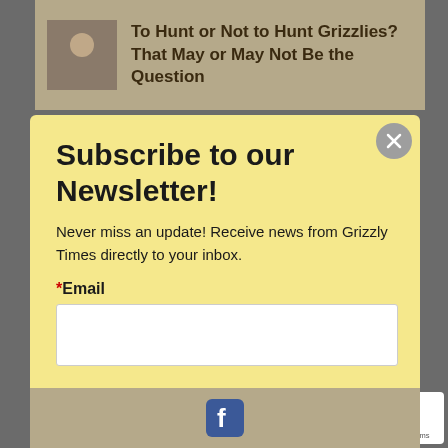To Hunt or Not to Hunt Grizzlies? That May or May Not Be the Question
Subscribe to our Newsletter!
Never miss an update! Receive news from Grizzly Times directly to your inbox.
*Email
By submitting this form, you are consenting to receive marketing emails from: Grizzly Times, PO Box 2406, Livingston, MT, 59047, US, http://grizzlytimes.org. You can revoke your consent to receive emails at any time by using the SafeUnsubscribe® link, found at the bottom of every email. Emails are serviced by Constant Contact.